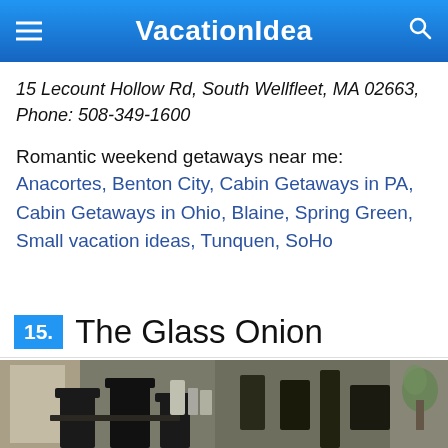VacationIdea
15 Lecount Hollow Rd, South Wellfleet, MA 02663, Phone: 508-349-1600
Romantic weekend getaways near me: Anacortes, Benton City, Cabin Getaways in PA, Cabin Getaways in Ohio, Blaine, Spring Green, Small vacation ideas, Tunquen, SoHo
15. The Glass Onion
[Figure (photo): Interior photo of The Glass Onion restaurant/accommodation showing dining furniture and decor]